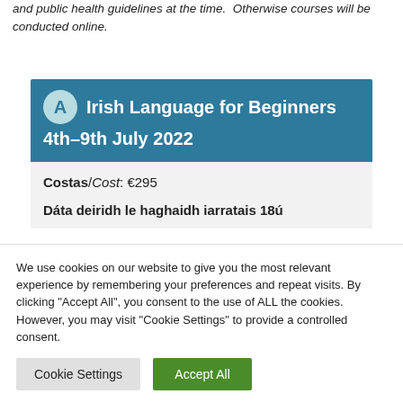and public health guidelines at the time. Otherwise courses will be conducted online.
A Irish Language for Beginners 4th–9th July 2022
Costas/Cost: €295
Dáta deiridh le haghaidh iarratais 18ú
We use cookies on our website to give you the most relevant experience by remembering your preferences and repeat visits. By clicking "Accept All", you consent to the use of ALL the cookies. However, you may visit "Cookie Settings" to provide a controlled consent.